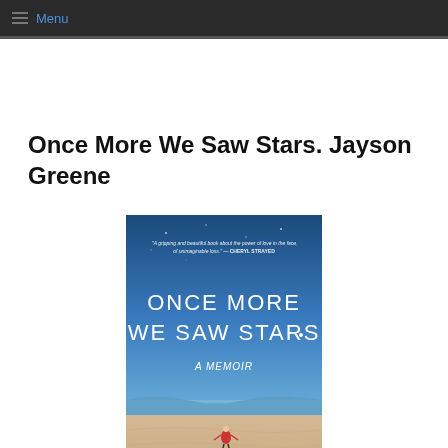Menu
Once More We Saw Stars. Jayson Greene
[Figure (illustration): Book cover of 'Once More We Saw Stars: A Memoir' by Jayson Greene. Blue sky and beach scene with a small figure in red. White handwritten-style title text. Quote from Cheryl Strayed at top.]